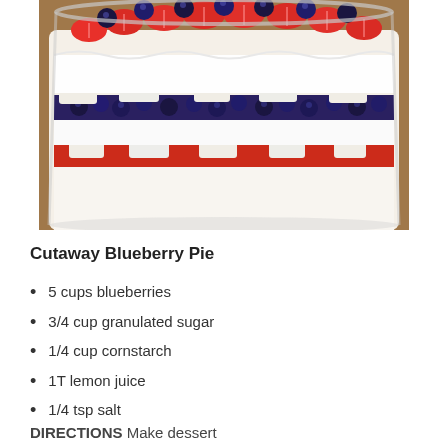[Figure (photo): A large glass trifle bowl filled with layered dessert: strawberries and blueberries on top, whipped cream layers, angel food cake pieces, and berry filling visible through the glass sides.]
Cutaway Blueberry Pie
5 cups blueberries
3/4 cup granulated sugar
1/4 cup cornstarch
1T lemon juice
1/4 tsp salt
DIRECTIONS Make dessert